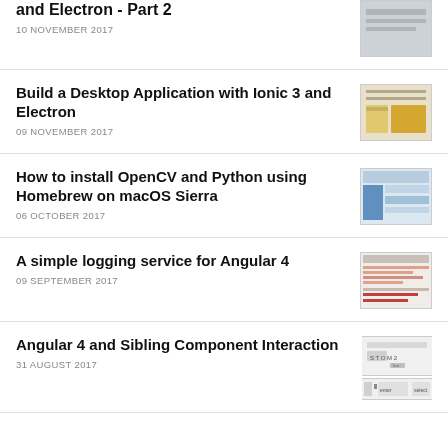and Electron - Part 2
10 NOVEMBER 2017
Build a Desktop Application with Ionic 3 and Electron
09 NOVEMBER 2017
How to install OpenCV and Python using Homebrew on macOS Sierra
06 OCTOBER 2017
A simple logging service for Angular 4
09 SEPTEMBER 2017
Angular 4 and Sibling Component Interaction
31 AUGUST 2017